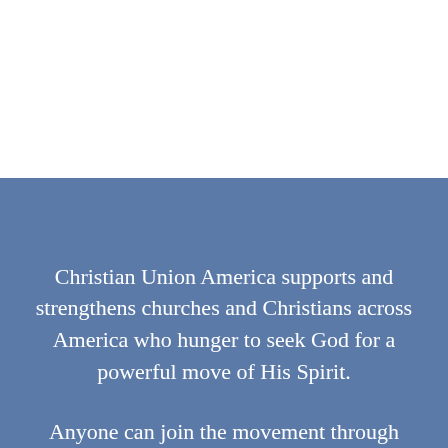Christian Union America supports and strengthens churches and Christians across America who hunger to seek God for a powerful move of His Spirit.
Anyone can join the movement through